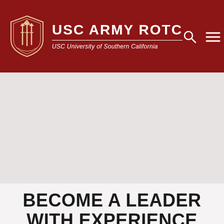USC ARMY ROTC — USC University of Southern California
[Figure (photo): Large hero image area showing a light pinkish-gray background, likely a faded or loading photo related to USC Army ROTC]
BECOME A LEADER WITH EXPERIENCE